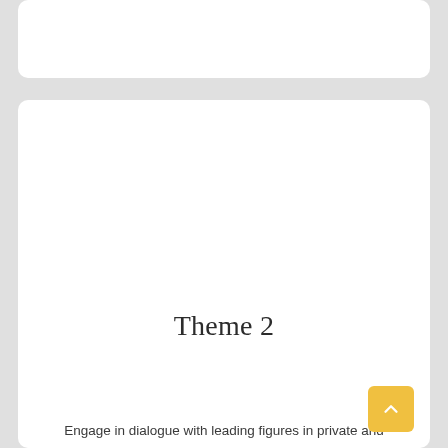Theme 2
Engage in dialogue with leading figures in private and public sectors who play an important role in the economy. Facilitate dialogue, in particular, on the fourth industrial revolution.